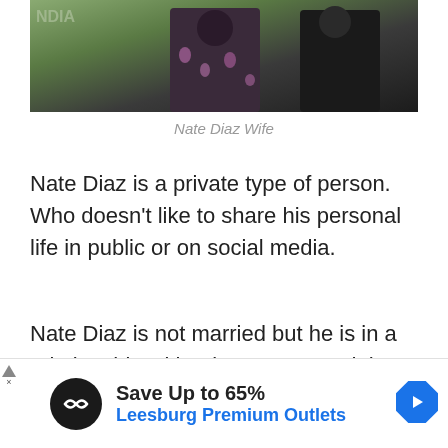[Figure (photo): Cropped photo of two people standing together, one in a floral dress and one in dark clothing, outdoors with greenery in background.]
Nate Diaz Wife
Nate Diaz is a private type of person. Who doesn't like to share his personal life in public or on social media.
Nate Diaz is not married but he is in a relationship with Misty Brown and they have a daughter together.
[Figure (screenshot): Advertisement bar: Save Up to 65% Leesburg Premium Outlets with logo and navigation arrow icon.]